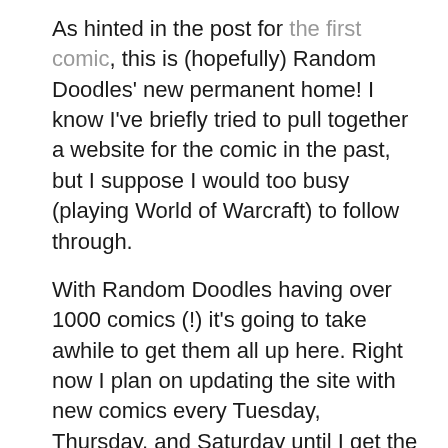As hinted in the post for the first comic, this is (hopefully) Random Doodles' new permanent home! I know I've briefly tried to pull together a website for the comic in the past, but I suppose I would too busy (playing World of Warcraft) to follow through.
With Random Doodles having over 1000 comics (!) it's going to take awhile to get them all up here. Right now I plan on updating the site with new comics every Tuesday, Thursday, and Saturday until I get the site working (and looking) like I want it to. Once that's done, I can step up the web preparations of the comics and hopefully update every day of the week until the backlog is caught up with the present!
But in the meantime, the site will likely not look pretty. At all. While I'm pretty good at coding Java, I'm not so good at editing CSS styles, or design in